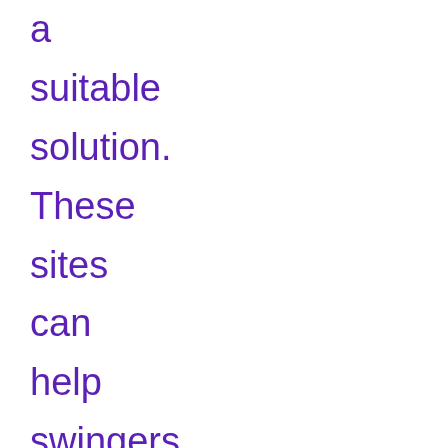a suitable solution. These sites can help swingers find partners they can share unique moments in a short